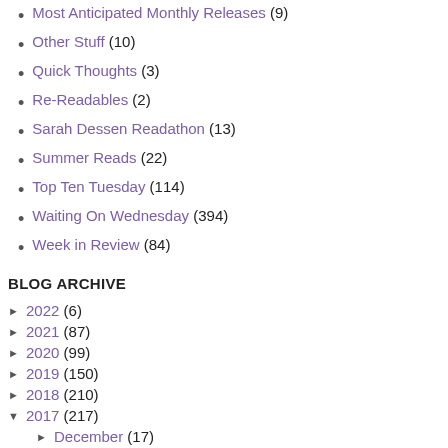Most Anticipated Monthly Releases (9)
Other Stuff (10)
Quick Thoughts (3)
Re-Readables (2)
Sarah Dessen Readathon (13)
Summer Reads (22)
Top Ten Tuesday (114)
Waiting On Wednesday (394)
Week in Review (84)
BLOG ARCHIVE
2022 (6)
2021 (87)
2020 (99)
2019 (150)
2018 (210)
2017 (217)
December (17)
November (20)
[Figure (photo): Photo showing yellow flowers (chrysanthemums) in the foreground with people visible in the background]